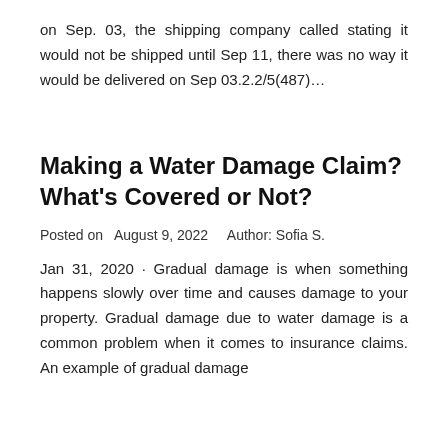on Sep. 03, the shipping company called stating it would not be shipped until Sep 11, there was no way it would be delivered on Sep 03.2.2/5(487)…
Making a Water Damage Claim? What's Covered or Not?
Posted on  August 9, 2022    Author: Sofia S.
Jan 31, 2020 · Gradual damage is when something happens slowly over time and causes damage to your property. Gradual damage due to water damage is a common problem when it comes to insurance claims. An example of gradual damage